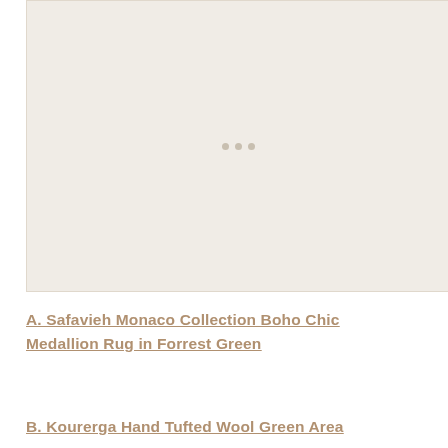[Figure (photo): Large image placeholder area with light beige/tan background and three small dots in the center, representing a loading or placeholder image for a rug product.]
A. Safavieh Monaco Collection Boho Chic Medallion Rug in Forrest Green
B. Kourerga Hand Tufted Wool Green Area